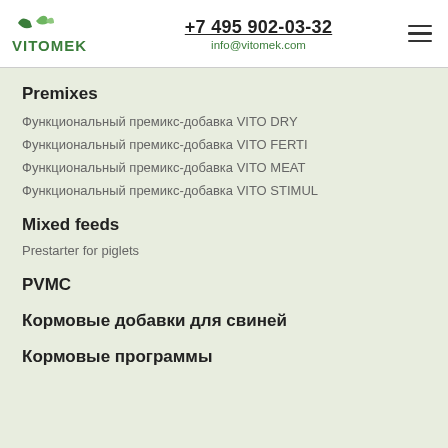VITOMEK +7 495 902-03-32 info@vitomek.com
Premixes
Функциональный премикс-добавка VITO DRY
Функциональный премикс-добавка VITO FERTI
Функциональный премикс-добавка VITO MEAT
Функциональный премикс-добавка VITO STIMUL
Mixed feeds
Prestarter for piglets
PVMC
Кормовые добавки для свиней
Кормовые программы